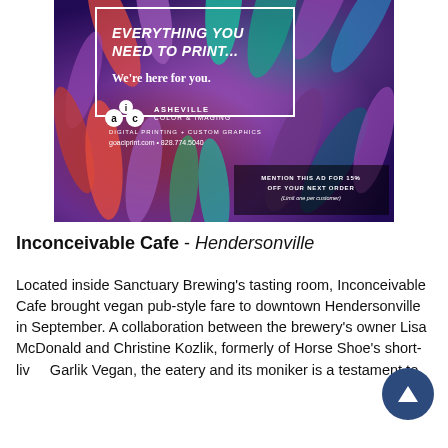[Figure (illustration): Advertisement for Asheville Color & Imaging (ACI) digital printing company. Background shows colorful feathers in purple, red, green, teal hues. White box overlay text reads 'EVERYTHING YOU NEED TO PRINT... We're here for you.' ACI logo with circles, company name 'ASHEVILLE COLOR & IMAGING', 'DIGITAL PRINTING + CUSTOM GRAPHICS', website 'goaciprint.com • 828.774.5040'. Bottom right: 'MENTION THIS AD FOR 15% OFF YOUR NEXT ORDER (Limit one per customer)']
Inconceivable Cafe - Hendersonville
Located inside Sanctuary Brewing's tasting room, Inconceivable Cafe brought vegan pub-style fare to downtown Hendersonville in September. A collaboration between the brewery's owner Lisa McDonald and Christine Kozlik, formerly of Horse Shoe's short-lived Garlik Vegan, the eatery and its moniker is a testament to